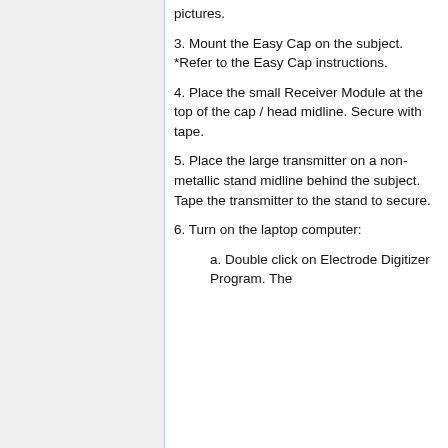pictures.
3. Mount the Easy Cap on the subject. *Refer to the Easy Cap instructions.
4. Place the small Receiver Module at the top of the cap / head midline. Secure with tape.
5. Place the large transmitter on a non-metallic stand midline behind the subject. Tape the transmitter to the stand to secure.
6. Turn on the laptop computer:
a. Double click on Electrode Digitizer Program. The